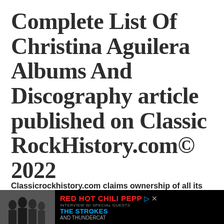Complete List Of Christina Aguilera Albums And Discography article published on Classic RockHistory.com© 2022
Classicrockhistory.com claims ownership of all its original content and Intellectual property under United States Copyright laws and those of all other foreign countries. No one person, business, or organization is allowed to reproduce content found anywhere without permission.
[Figure (photo): Advertisement banner for Red Hot Chili Peppers / The Strokes and Thundercat concert or event, with black background, band silhouette photo on left and red/blue text on right.]